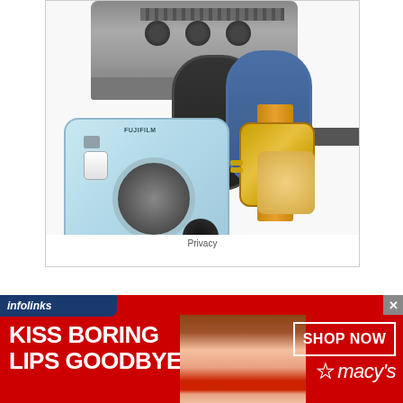[Figure (photo): Advertisement image showing multiple consumer products: a portable electric grill/griddle at top, two Fitbit fitness tracker wristbands (one black, one blue-grey), a rose gold Michael Kors or similar luxury watch, and a light blue Fujifilm Instax Mini instant camera in the foreground. White background with thin border. 'Privacy' text centered at bottom of ad box.]
Privacy
[Figure (infographic): Macy's 'infolinks' advertisement banner. Dark blue infolinks logo in top-left corner. Red background banner with white bold text reading 'KISS BORING LIPS GOODBYE' on the left side. Center shows a close-up photo of a woman's face with red lipstick. Right side has a white-bordered box with 'SHOP NOW' text and the Macy's star logo with 'macy's' text below. Grey X close button in top right.]